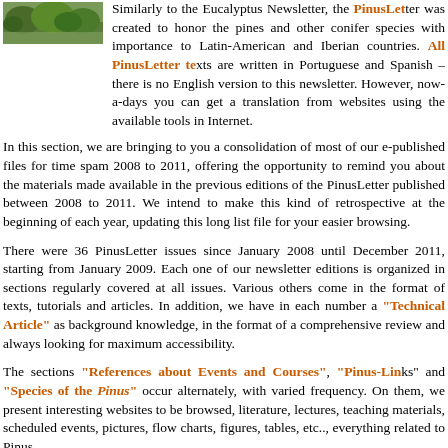[Figure (photo): Small landscape photo showing green trees/forest, used as a float next to introductory text about PinusLetter]
Similarly to the Eucalyptus Newsletter, the PinusLetter was created to honor the pines and other conifer species with importance to Latin-American and Iberian countries. All PinusLetter texts are written in Portuguese and Spanish – there is no English version to this newsletter. However, now-a-days you can get a translation from websites using the available tools in Internet.
In this section, we are bringing to you a consolidation of most of our e-published files for time spam 2008 to 2011, offering the opportunity to remind you about the materials made available in the previous editions of the PinusLetter published between 2008 to 2011. We intend to make this kind of retrospective at the beginning of each year, updating this long list file for your easier browsing.
There were 36 PinusLetter issues since January 2008 until December 2011, starting from January 2009. Each one of our newsletter editions is organized in sections regularly covered at all issues. Various others come in the format of texts, tutorials and articles. In addition, we have in each number a "Technical Article" as background knowledge, in the format of a comprehensive review and always looking for maximum accessibility.
The sections "References about Events and Courses", "Pinus-Links" and "Species of the Pinus" occur alternately, with varied frequency. On them, we present interesting websites to be browsed, literature, lectures, teaching materials, scheduled events, pictures, flow charts, figures, tables, etc.., everything related to Pinus.
Furthermore, we have a section titled "Online Technical Literature" that may vary according to the edition. This section is mainly designed to honor the Species of the Pinus or to present "Papers, Ph.D. Theses and Master Dissertations" published by universities or research institutions in a worldwide range.
A section which has always brought much interest to our readers ha...